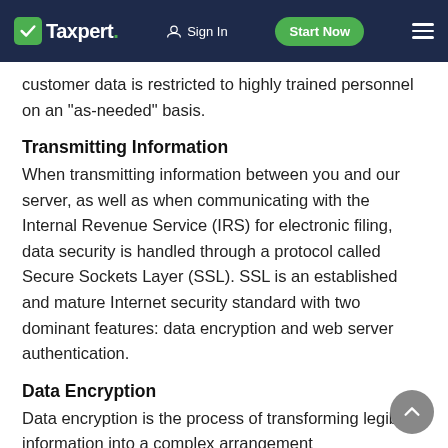Taxpert. Sign In Start Now
customer data is restricted to highly trained personnel on an "as-needed" basis.
Transmitting Information
When transmitting information between you and our server, as well as when communicating with the Internal Revenue Service (IRS) for electronic filing, data security is handled through a protocol called Secure Sockets Layer (SSL). SSL is an established and mature Internet security standard with two dominant features: data encryption and web server authentication.
Data Encryption
Data encryption is the process of transforming legible information into a complex arrangement